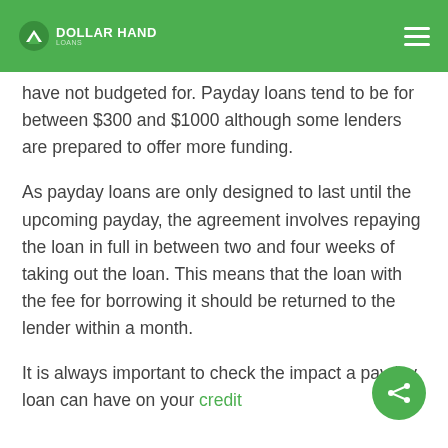Dollar Hand
have not budgeted for. Payday loans tend to be for between $300 and $1000 although some lenders are prepared to offer more funding.
As payday loans are only designed to last until the upcoming payday, the agreement involves repaying the loan in full in between two and four weeks of taking out the loan. This means that the loan with the fee for borrowing it should be returned to the lender within a month.
It is always important to check the impact a payday loan can have on your credit